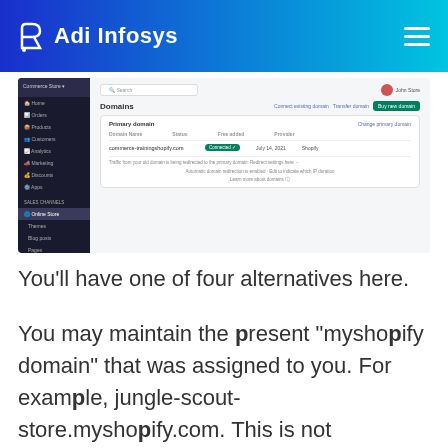Adi Infosys
[Figure (screenshot): Shopify admin interface showing the Domains page with a primary domain listed as 'Connected Successfully' with date July 14, 2021 provider Shopify]
You'll have one of four alternatives here.
You may maintain the present "myshopify domain" that was assigned to you. For example, jungle-scout-store.myshopify.com. This is not